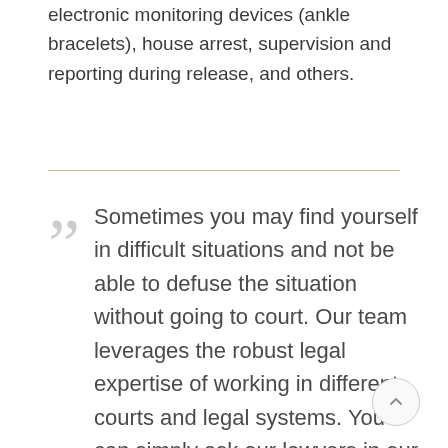electronic monitoring devices (ankle bracelets), house arrest, supervision and reporting during release, and others.
Sometimes you may find yourself in difficult situations and not be able to defuse the situation without going to court. Our team leverages the robust legal expertise of working in different courts and legal systems. You can simply ask our lawyers in our company what those are